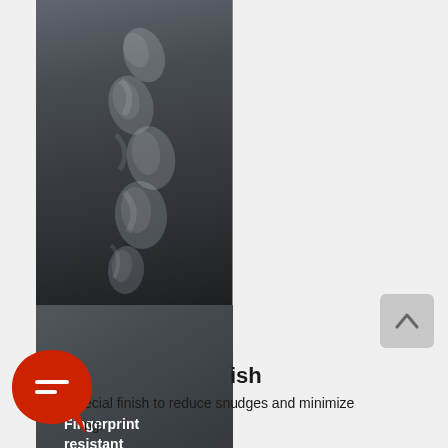[Figure (photo): Split product image showing two panels side-by-side. Left panel shows a dark gray surface with visible fingerprint smudge marks in white/light tones. Right panel shows the same surface clean and smudge-free with text 'Fingerprint resistant' in white bold font overlay.]
Fingerprint resistant
[Figure (screenshot): Live chat popup overlay with avatar of a person wearing dark clothing, red circular border on avatar. Text reads: 'Hey there, have a question? Chat with us!' with a close (X) button in dark gray circle at top right of popup.]
Hey there, have a question? Chat with us!
ish
ecial finish to reduce smudges and minimize ng.
[Figure (logo): Red teardrop/speech bubble shaped icon with a white chat message symbol inside, positioned at bottom left of page.]